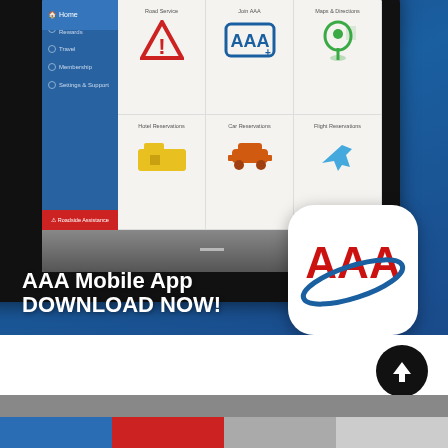[Figure (screenshot): AAA Mobile App advertisement showing a tablet with the AAA app interface displaying Road Service, Join AAA, Maps & Directions, Hotel Reservations, Car Reservations, and Flight Reservations icons. An AAA app icon is shown in the lower right. Text reads 'AAA Mobile App DOWNLOAD NOW!']